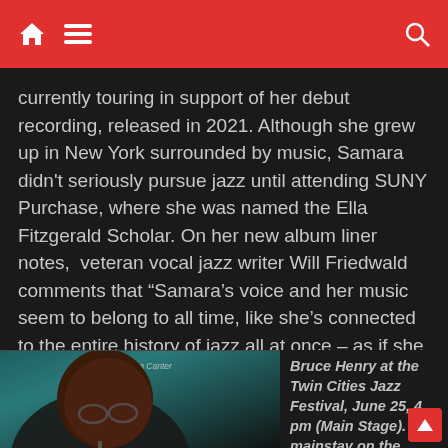[navigation bar with home, menu, and search icons]
currently touring in support of her debut recording, released in 2021. Although she grew up in New York surrounded by music, Samara didn't seriously pursue jazz until attending SUNY Purchase, where she was named the Ella Fitzgerald Scholar. On her new album liner notes,  veteran vocal jazz writer Will Friedwald comments that “Samara’s voice and her music seem to belong to all time, like she’s connected to the entire history of jazz all at once – as if she were existing in every era simultaneously, she sounds both classic and contemporary.”
[Figure (photo): Photo of Bruce Henry performing, credit: Andrea Canter]
Bruce Henry at the Twin Cities Jazz Festival, June 25, 4 pm (Main Stage). A mainstay on the...